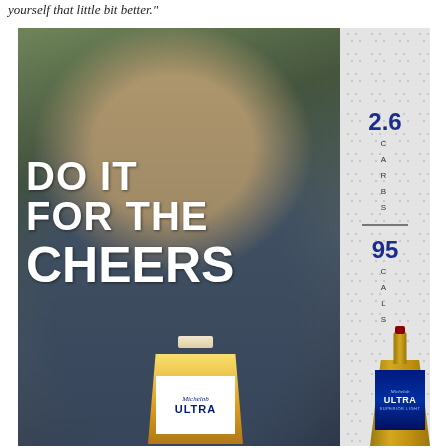yourself that little bit better."
[Figure (photo): Michelob Ultra beer advertisement featuring a smiling golfer in a Nike cap and athletic wear, with the text 'DO IT FOR THE CHEERS' overlaid. Right side shows golf ball texture background with '2.6 CARBS' and '95 CALS' nutritional stats. Bottom shows a Michelob Ultra beer glass and bottle.]